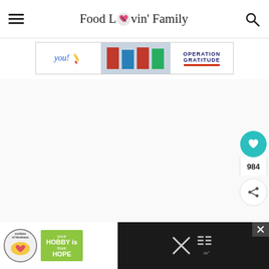Food Lovin' Family
[Figure (screenshot): Operation Gratitude advertisement banner with handwritten 'you!' text, pencil illustration, group photo, and OPERATION GRATITUDE logo]
[Figure (infographic): Social sharing sidebar with teal heart/save button showing 984 saves and a share button]
[Figure (screenshot): Bottom advertisement: 'cookies of kindness' with heart-shaped cookie image and 'your HOBBY is their HOPE' text on green background]